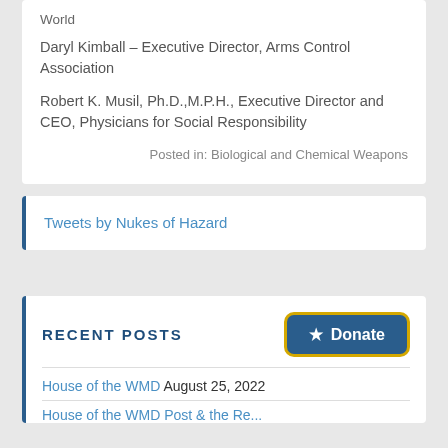World
Daryl Kimball – Executive Director, Arms Control Association
Robert K. Musil, Ph.D.,M.P.H., Executive Director and CEO, Physicians for Social Responsibility
Posted in: Biological and Chemical Weapons
Tweets by Nukes of Hazard
RECENT POSTS
House of the WMD August 25, 2022